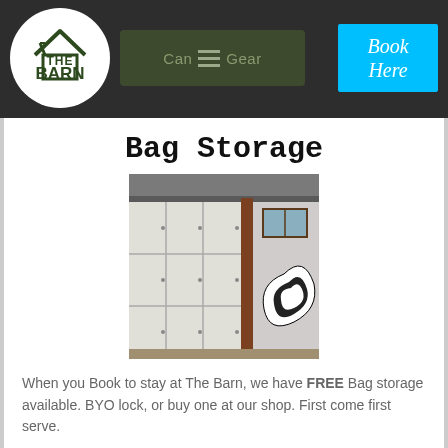[Figure (logo): The Barn logo — circular white badge with a house/barn silhouette and the text THE BARN in dark green]
[Figure (screenshot): Dark green rounded button labeled 'Camp Gear' with a hamburger menu icon]
[Figure (screenshot): Cyan/blue Book Here button with white italic text]
Bag Storage
[Figure (photo): Photograph of outdoor storage lockers — metal locker units against a wooden post, with a painted black-and-white swirl mural on the right side]
When you Book to stay at The Barn, we have FREE Bag storage available. BYO lock, or buy one at our shop. First come first serve.